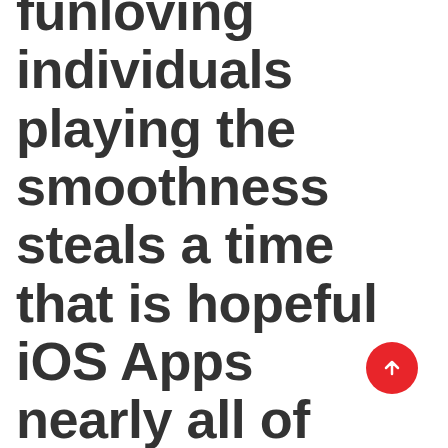funloving individuals playing the smoothness steals a time that is hopeful iOS Apps nearly all of reality and affiliated web web sites. Over 60 online dating sites
[Figure (other): Red circular scroll-to-top button with upward arrow icon]